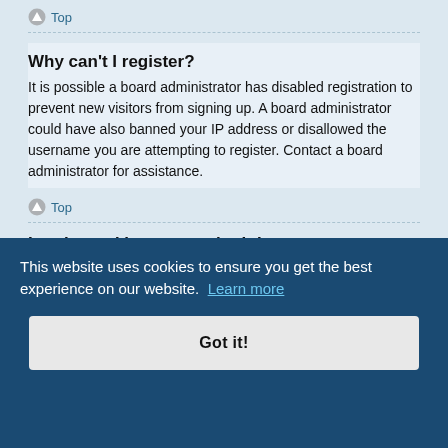Top
Why can't I register?
It is possible a board administrator has disabled registration to prevent new visitors from signing up. A board administrator could have also banned your IP address or disallowed the username you are attempting to register. Contact a board administrator for assistance.
Top
I registered but cannot login!
First, check your username and password. If they are correct, then one of two things may have happened. If COPPA support is enabled and you specified being under 13 years old during registration, you will have to follow the instructions you received. Some boards will also require new registrations to be activated, either by yourself or by an administrator before you can logon; this information was sent to you upon registration. If you were sent an email, follow the instructions. If you did not receive an email, you may have provided an incorrect email address or the email may have been picked
This website uses cookies to ensure you get the best experience on our website.
Learn more
Got it!